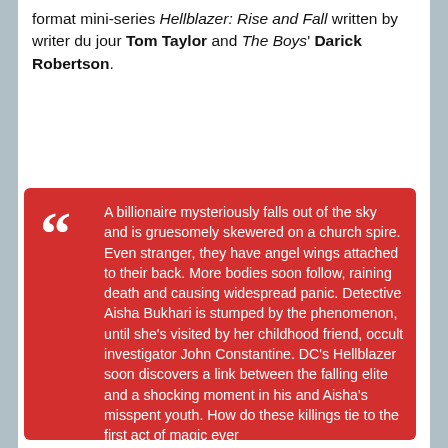format mini-series Hellblazer: Rise and Fall written by writer du jour Tom Taylor and The Boys' Darick Robertson.
A billionaire mysteriously falls out of the sky and is gruesomely skewered on a church spire. Even stranger, they have angel wings attached to their back. More bodies soon follow, raining death and causing widespread panic. Detective Aisha Bukhari is stumped by the phenomenon, until she's visited by her childhood friend, occult investigator John Constantine. DC's Hellblazer soon discovers a link between the falling elite and a shocking moment in his and Aisha's misspent youth. How do these killings tie to the first act of magic ever